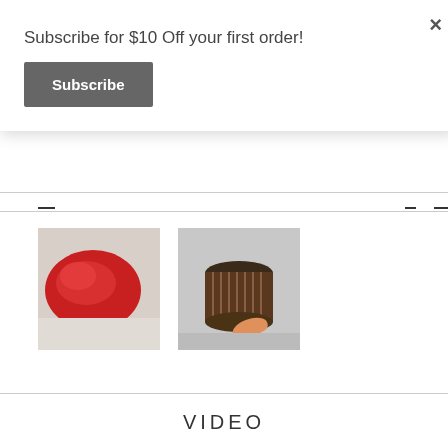Subscribe for $10 Off your first order!
Subscribe
[Figure (photo): Red plastic ATV/UTV part thumbnail]
[Figure (photo): Air filter being held by hand thumbnail]
VIDEO
[Figure (screenshot): Video thumbnail with text: New Alliance 4x4 ...]